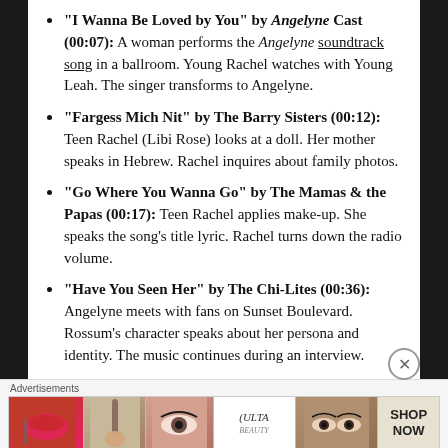"I Wanna Be Loved by You" by Angelyne Cast (00:07): A woman performs the Angelyne soundtrack song in a ballroom. Young Rachel watches with Young Leah. The singer transforms to Angelyne.
"Fargess Mich Nit" by The Barry Sisters (00:12): Teen Rachel (Libi Rose) looks at a doll. Her mother speaks in Hebrew. Rachel inquires about family photos.
"Go Where You Wanna Go" by The Mamas & the Papas (00:17): Teen Rachel applies make-up. She speaks the song's title lyric. Rachel turns down the radio volume.
"Have You Seen Her" by The Chi-Lites (00:36): Angelyne meets with fans on Sunset Boulevard. Rossum's character speaks about her persona and identity. The music continues during an interview.
[Figure (other): Ulta Beauty advertisement banner showing closeup images of lips with lipstick, makeup brush, eye with makeup, Ulta logo, eyes with dramatic makeup, and SHOP NOW text.]